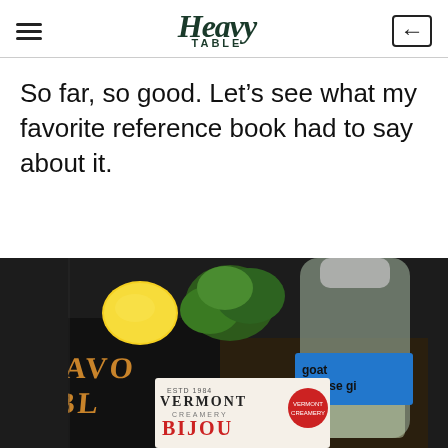Heavy Table
So far, so good. Let's see what my favorite reference book had to say about it.
[Figure (photo): A photograph showing a bottle with a blue tape label reading 'goat cheese gin', next to a lemon, fresh herbs, a book titled 'Flavor Bible', and a Vermont Creamery Bijou cheese package on a dark surface.]